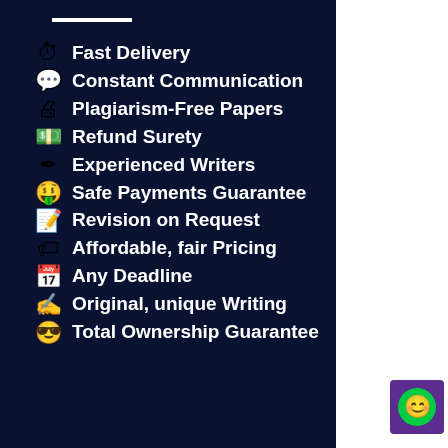⏱ Fast Delivery
💬 Constant Communication
🖨 Plagiarism-Free Papers
💵 Refund Surety
✒ Experienced Writers
🤑 Safe Payments Guarantee
📝 Revision on Request
🏷 Affordable, fair Pricing
📅 Any Deadline
✍ Original, unique Writing
😎 Total Ownership Guarantee